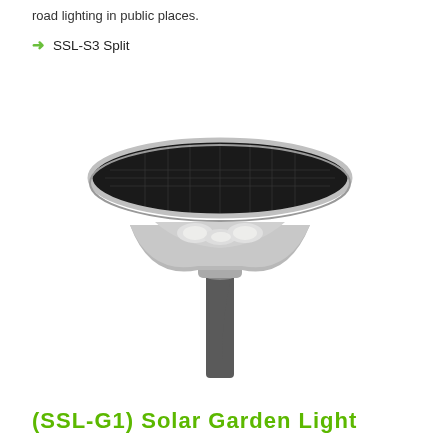road lighting in public places.
SSL-S3 Split
[Figure (photo): A solar garden light (SSL-G1) with a wide circular solar panel on top shaped like an inverted cone/mushroom, mounted on a dark cylindrical pole. The fixture has a silver/metallic housing with LED lights visible underneath the solar panel.]
(SSL-G1) Solar Garden Light